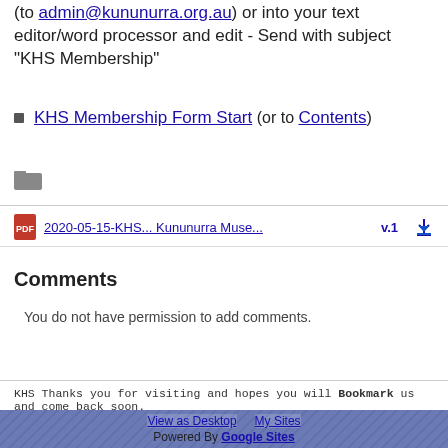(to admin@kununurra.org.au) or into your text editor/word processor and edit - Send with subject "KHS Membership"
KHS Membership Form Start (or to Contents)
[Figure (other): Folder icon]
2020-05-15-KHS...  Kununurra Muse...  v.1  [download icon]
Comments
You do not have permission to add comments.
KHS Thanks you for visiting and hopes you will Bookmark us and come back soon.
View as Desktop  My Sites  Powered By Google Sites